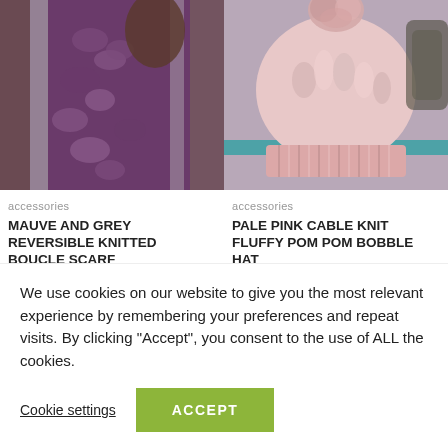[Figure (photo): Photo of a mauve and grey knitted boucle scarf draped on a mannequin]
[Figure (photo): Photo of a pale pink cable knit fluffy pom pom bobble hat displayed on a shelf]
accessories
MAUVE AND GREY REVERSIBLE KNITTED BOUCLE SCARF
☆☆☆☆☆
£55.00
accessories
PALE PINK CABLE KNIT FLUFFY POM POM BOBBLE HAT
☆☆☆☆☆
£11.50
We use cookies on our website to give you the most relevant experience by remembering your preferences and repeat visits. By clicking "Accept", you consent to the use of ALL the cookies.
Cookie settings
ACCEPT